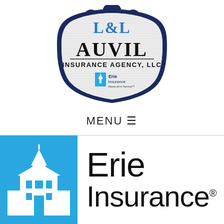[Figure (logo): Auvil Insurance Agency LLC logo — shield/badge shape with dark navy border, 'L&L' monogram in blue decorative lettering at top, 'AUVIL' in large bold black text, 'INSURANCE AGENCY, LLC' in smaller black text, Erie Insurance logo at bottom inside the badge]
MENU ☰
[Figure (logo): Erie Insurance logo — blue square graphic on left showing white church/building steeple silhouette, with 'Erie' in large black text and 'Insurance®' in large black text on the right]